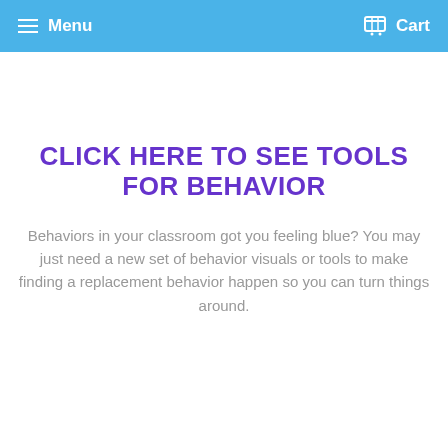Menu   Cart
CLICK HERE TO SEE TOOLS FOR BEHAVIOR
Behaviors in your classroom got you feeling blue? You may just need a new set of behavior visuals or tools to make finding a replacement behavior happen so you can turn things around.